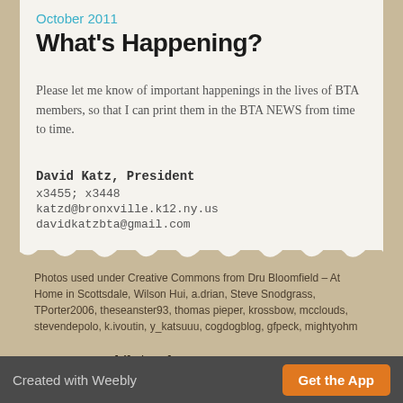October 2011
What's Happening?
Please let me know of important happenings in the lives of BTA members, so that I can print them in the BTA NEWS from time to time.
David Katz, President
x3455; x3448
katzd@bronxville.k12.ny.us
davidkatzbta@gmail.com
Photos used under Creative Commons from Dru Bloomfield - At Home in Scottsdale, Wilson Hui, a.drian, Steve Snodgrass, TPorter2006, theseanster93, thomas pieper, krossbow, mcclouds, stevendepolo, k.ivoutin, y_katsuuu, cogdogblog, gfpeck, mightyohm
Version:   Mobile |  Web
Created with Weebly   Get the App